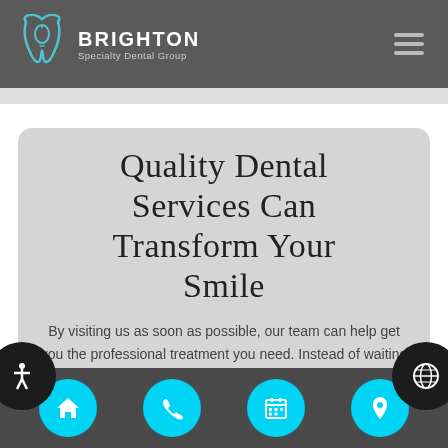Brighton Specialty Dental Group
Quality Dental Services Can Transform Your Smile
By visiting us as soon as possible, our team can help get you the professional treatment you need. Instead of waiting around and